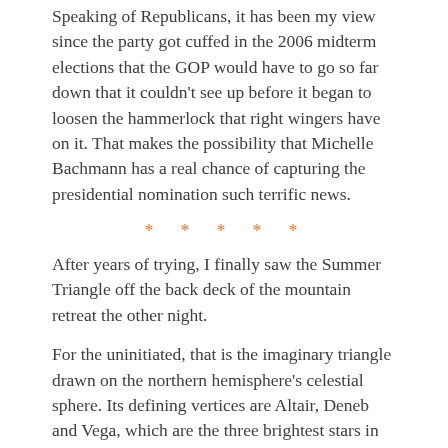Speaking of Republicans, it has been my view since the party got cuffed in the 2006 midterm elections that the GOP would have to go so far down that it couldn't see up before it began to loosen the hammerlock that right wingers have on it. That makes the possibility that Michelle Bachmann has a real chance of capturing the presidential nomination such terrific news.
* * * * *
After years of trying, I finally saw the Summer Triangle off the back deck of the mountain retreat the other night.
For the uninitiated, that is the imaginary triangle drawn on the northern hemisphere's celestial sphere. Its defining vertices are Altair, Deneb and Vega, which are the three brightest stars in the constellations of Acquila, Cygnus and Lyra.
* * * * *
Wealthenbit like Boquet Morded...